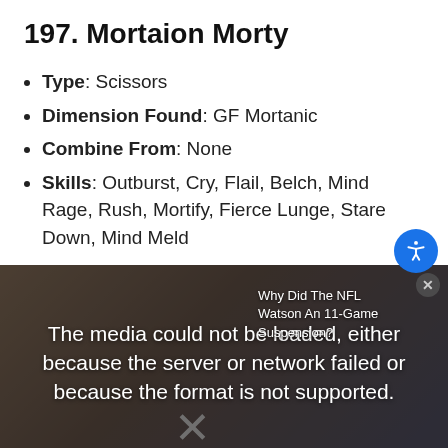197. Mortaion Morty
Type: Scissors
Dimension Found: GF Mortanic
Combine From: None
Skills: Outburst, Cry, Flail, Belch, Mind Rage, Rush, Mortify, Fierce Lunge, Stare Down, Mind Meld
[Figure (screenshot): Video player error overlay showing 'The media could not be loaded, either because the server or network failed or because the format is not supported.' with an X mark. Side text reads 'Why Did The NFL Watson An 11-Game Suspension?']
Type: Rock
Dimension Found: GF Mortanic
Combine From: None